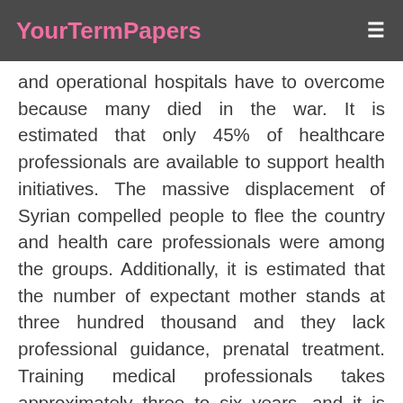YourTermPapers
and operational hospitals have to overcome because many died in the war. It is estimated that only 45% of healthcare professionals are available to support health initiatives. The massive displacement of Syrian compelled people to flee the country and health care professionals were among the groups. Additionally, it is estimated that the number of expectant mother stands at three hundred thousand and they lack professional guidance, prenatal treatment. Training medical professionals takes approximately three to six years, and it is equally expensive and unrealizable in a country that needs immediate health solutions. The organization aims at hiring members that can support and